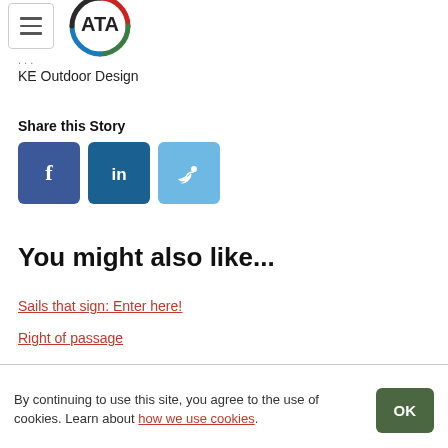ATA logo and navigation
KE Outdoor Design
Share this Story
[Figure (other): Social share buttons: Facebook (f), LinkedIn (in), Twitter (bird icon)]
You might also like...
Sails that sign: Enter here!
Right of passage
By continuing to use this site, you agree to the use of cookies. Learn about how we use cookies.